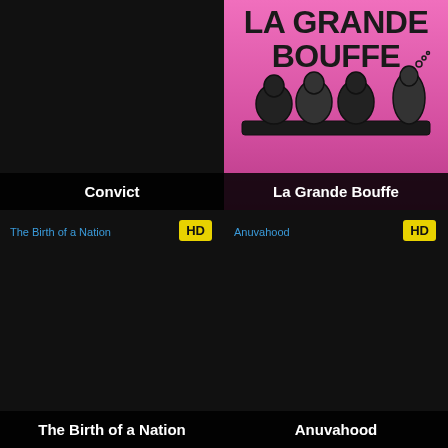[Figure (screenshot): Dark movie card tile for 'Convict' with black background and title label at bottom]
[Figure (screenshot): Movie poster for 'La Grande Bouffe' with pink background, bold typography, cartoon illustration of figures at a table]
[Figure (screenshot): Movie card tile for 'The Birth of a Nation' with HD badge, dark background]
[Figure (screenshot): Movie card tile for 'Anuvahood' with HD badge, dark background]
Convict
La Grande Bouffe
The Birth of a Nation
Anuvahood